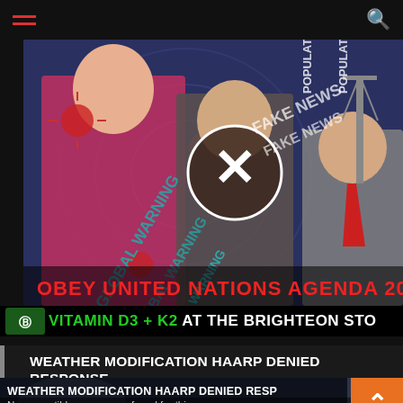hamburger menu / search icon
[Figure (photo): Composite conspiracy-themed image featuring a young woman in pink, a man with X over face, Bill Gates, overlaid with text: FAKE NEWS, GLOBAL WARNING, POPULATION, OBEY UNITED NATIONS AGENDA 2030]
VITAMIN D3 + K2 AT THE BRIGHTEON STO
WEATHER MODIFICATION HAARP DENIED RESPONSE
WEATHER MODIFICATION HAARP DENIED RESP
No compatible source was found for this m